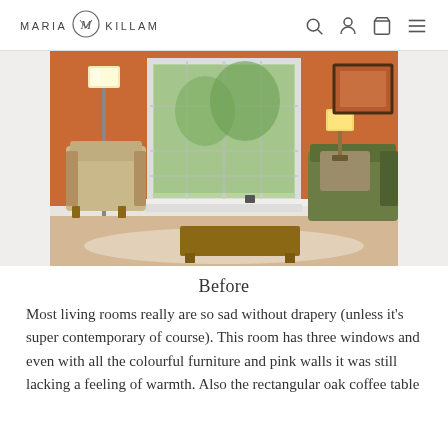MARIA KILLAM
[Figure (photo): Interior photo of a living room before redesign: orange/terracotta walls, beige armchair on the left, green sofa on the right with a cushion, a large multi-pane window in the center with a view of trees, a floor lamp on the left, a table lamp on the right, a framed artwork on the wall, and a rectangular wooden coffee table in the foreground on a patterned rug.]
Before
Most living rooms really are so sad without drapery (unless it’s super contemporary of course). This room has three windows and even with all the colourful furniture and pink walls it was still lacking a feeling of warmth. Also the rectangular oak coffee table